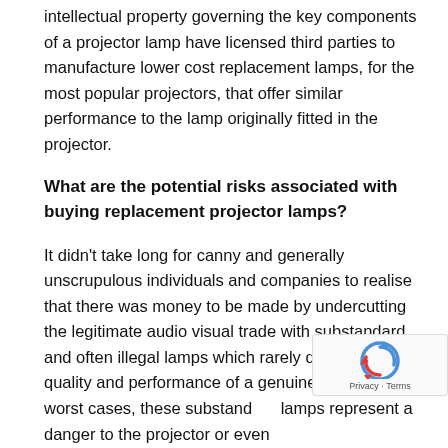intellectual property governing the key components of a projector lamp have licensed third parties to manufacture lower cost replacement lamps, for the most popular projectors, that offer similar performance to the lamp originally fitted in the projector.
What are the potential risks associated with buying replacement projector lamps?
It didn't take long for canny and generally unscrupulous individuals and companies to realise that there was money to be made by undercutting the legitimate audio visual trade with substandard and often illegal lamps which rarely deliver the quality and performance of a genuine lamp. In the worst cases, these substandard lamps represent a danger to the projector or even